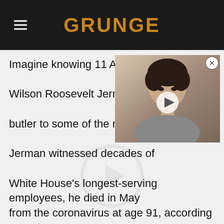GRUNGE
Imagine knowing 11 American presidents personally. For Wilson Roosevelt Jerman, it came with the job. As a butler to some of the most powerful people on earth, Jerman witnessed decades of history. One of the White House's longest-serving employees, he died in May from the coronavirus at age 91, according to Today.
[Figure (photo): Floating video player overlay showing a portrait of a woman with short dark hair, with a play button in the center and a close (X) button in the top right corner.]